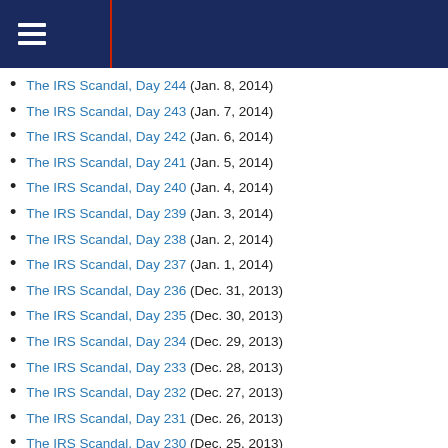Navigation header bar
The IRS Scandal, Day 244 (Jan. 8, 2014)
The IRS Scandal, Day 243 (Jan. 7, 2014)
The IRS Scandal, Day 242 (Jan. 6, 2014)
The IRS Scandal, Day 241 (Jan. 5, 2014)
The IRS Scandal, Day 240 (Jan. 4, 2014)
The IRS Scandal, Day 239 (Jan. 3, 2014)
The IRS Scandal, Day 238 (Jan. 2, 2014)
The IRS Scandal, Day 237 (Jan. 1, 2014)
The IRS Scandal, Day 236 (Dec. 31, 2013)
The IRS Scandal, Day 235 (Dec. 30, 2013)
The IRS Scandal, Day 234 (Dec. 29, 2013)
The IRS Scandal, Day 233 (Dec. 28, 2013)
The IRS Scandal, Day 232 (Dec. 27, 2013)
The IRS Scandal, Day 231 (Dec. 26, 2013)
The IRS Scandal, Day 230 (Dec. 25, 2013)
The IRS Scandal, Day 229 (Dec. 24, 2013)
The IRS Scandal, Day 228 (Dec. 23, 2013)
The IRS Scandal, Day 227 (Dec. 22, 2013)
The IRS Scandal, Day 226 (Dec. 21, 2013)
The IRS Scandal, Day 225 (Dec. 20, 2013)
The IRS Scandal, Day 224 (Dec. 19, 2013)